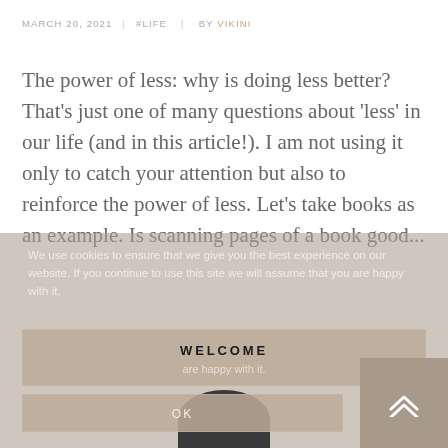MARCH 20, 2021   #LIFE   BY VIKINI
The power of less: why is doing less better? That's just one of many questions about 'less' in our life (and in this article!). I am not using it only to catch your attention but also to reinforce the power of less. Let's take books as an example. Is scanning pages of a book good...
We use cookies to ensure that we give you the best experience on our website. If you continue to use this site we will assume that you are happy with it.
WELCOME
OK